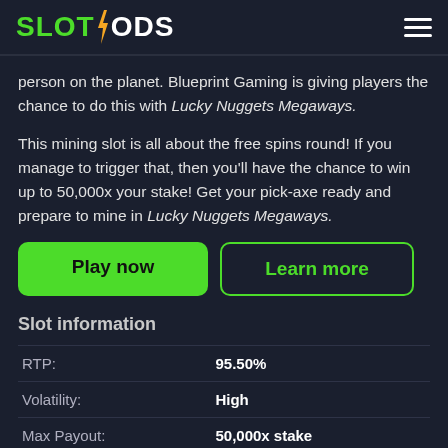SLOTGODS
person on the planet. Blueprint Gaming is giving players the chance to do this with Lucky Nuggets Megaways.
This mining slot is all about the free spins round! If you manage to trigger that, then you'll have the chance to win up to 50,000x your stake! Get your pick-axe ready and prepare to mine in Lucky Nuggets Megaways.
Play now | Learn more
Slot information
|  |  |
| --- | --- |
| RTP: | 95.50% |
| Volatility: | High |
| Max Payout: | 50,000x stake |